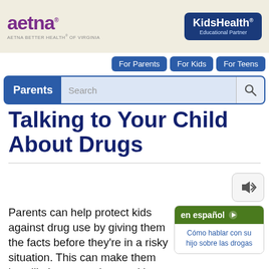aetna | AETNA BETTER HEALTH® OF VIRGINIA | KidsHealth Educational Partner
[Figure (screenshot): Navigation bar with buttons: For Parents, For Kids, For Teens]
[Figure (screenshot): Search bar with Parents label and search icon]
Talking to Your Child About Drugs
[Figure (other): Audio speaker button]
[Figure (other): en español button with link: Cómo hablar con su hijo sobre las drogas]
Parents can help protect kids against drug use by giving them the facts before they're in a risky situation. This can make them less likely to experiment with drugs or to rely on friends